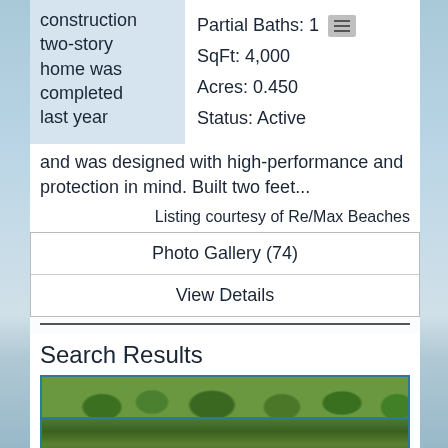construction two-story home was completed last year
Partial Baths: 1
SqFt: 4,000
Acres: 0.450
Status: Active
and was designed with high-performance and protection in mind. Built two feet...
Listing courtesy of Re/Max Beaches
Photo Gallery (74)
View Details
Search Results
[Figure (photo): Two rows of property photos showing trees and outdoor landscape]